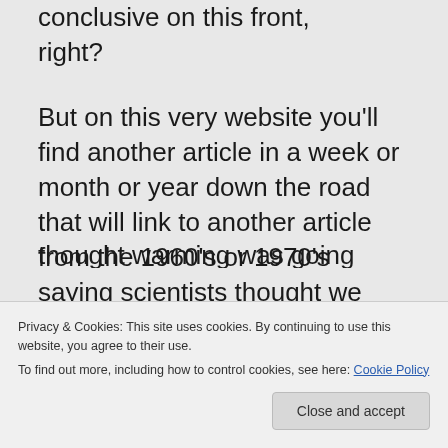conclusive on this front, right?
But on this very website you'll find another article in a week or month or year down the road that will link to another article from the 1960's or 1970's saying scientists thought we were going to be cooling. It's incredibly misleading, right?
Cookie Banner: Privacy & Cookies: This site uses cookies. By continuing to use this website, you agree to their use. To find out more, including how to control cookies, see here: Cookie Policy. Close and accept.
thought warming was going